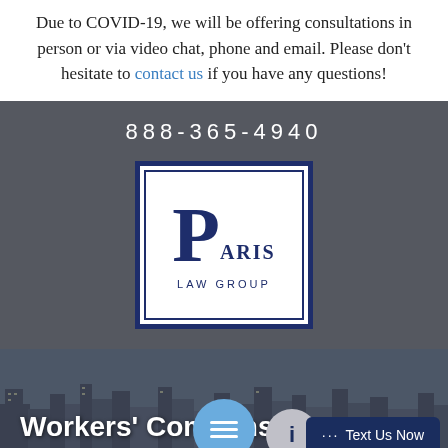Due to COVID-19, we will be offering consultations in person or via video chat, phone and email. Please don't hesitate to contact us if you have any questions!
888-365-4940
[Figure (logo): Paris Law Group logo — large decorative 'P' with 'ARIS' and 'LAW GROUP' text in navy blue, inside double-bordered white box]
Workers' Compensation